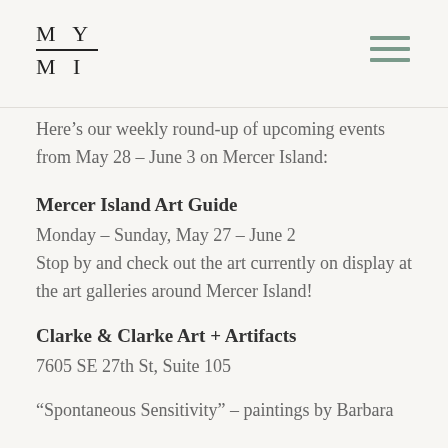MY MI
Here’s our weekly round-up of upcoming events from May 28 – June 3 on Mercer Island:
Mercer Island Art Guide
Monday – Sunday, May 27 – June 2
Stop by and check out the art currently on display at the art galleries around Mercer Island!
Clarke & Clarke Art + Artifacts
7605 SE 27th St, Suite 105
“Spontaneous Sensitivity” – paintings by Barbara